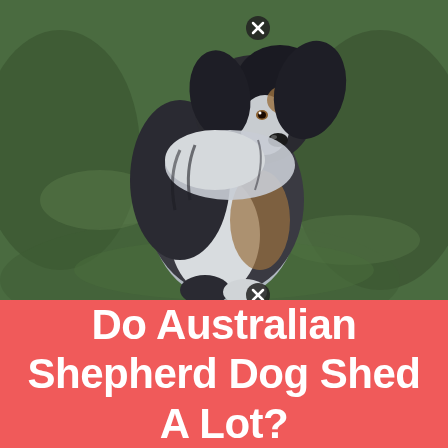[Figure (photo): An Australian Shepherd dog with blue merle coloring (black, white, and tan fur) sitting upright on green grass, looking upward and to the side. The dog has a fluffy coat and alert expression.]
Do Australian Shepherd Dog Shed A Lot?